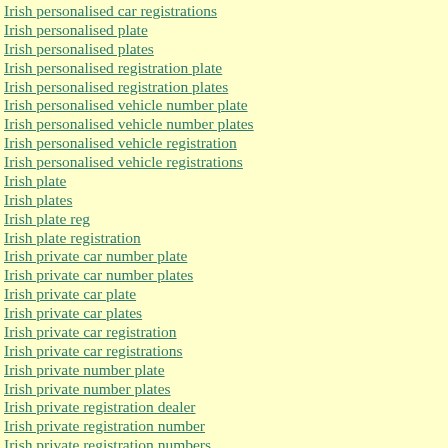Irish personalised car registrations
Irish personalised plate
Irish personalised plates
Irish personalised registration plate
Irish personalised registration plates
Irish personalised vehicle number plate
Irish personalised vehicle number plates
Irish personalised vehicle registration
Irish personalised vehicle registrations
Irish plate
Irish plates
Irish plate reg
Irish plate registration
Irish private car number plate
Irish private car number plates
Irish private car plate
Irish private car plates
Irish private car registration
Irish private car registrations
Irish private number plate
Irish private number plates
Irish private registration dealer
Irish private registration number
Irish private registration numbers
Irish private reg plate
Irish private reg plates